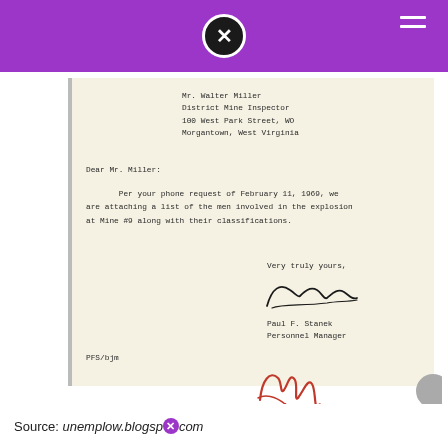[Figure (screenshot): Purple navigation bar with close icon (X in circle) and hamburger menu]
Mr. Walter Miller
District Mine Inspector
100 West Park Street, WO
Morgantown, West Virginia
Dear Mr. Miller:
Per your phone request of February 11, 1969, we are attaching a list of the men involved in the explosion at Mine #9 along with their classifications.
Very truly yours,

Paul F. Stanek
Personnel Manager
PFS/bjm
Source: unemplow.blogsp•com